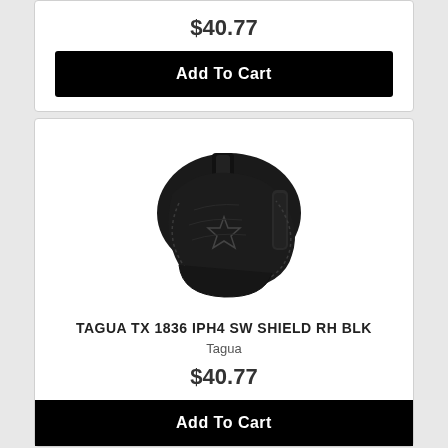$40.77
Add To Cart
[Figure (photo): Black leather gun holster product photo with star emblem embossed on side, shown from front angle]
TAGUA TX 1836 IPH4 SW SHIELD RH BLK
Tagua
$40.77
Add To Cart